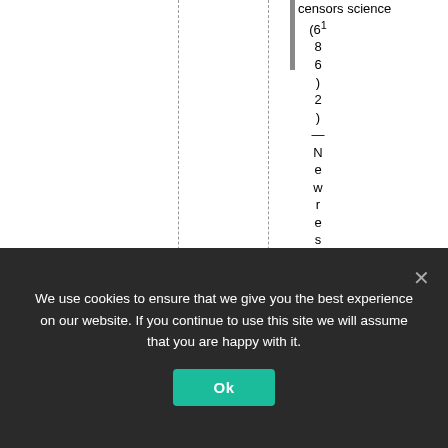censors science (1 2) — New research by M.
We use cookies to ensure that we give you the best experience on our website. If you continue to use this site we will assume that you are happy with it.